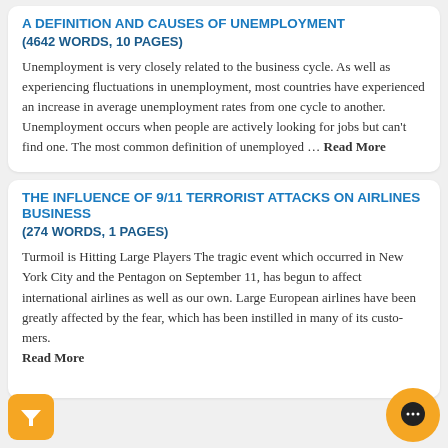A DEFINITION AND CAUSES OF UNEMPLOYMENT
(4642 WORDS, 10 PAGES)
Unemployment is very closely related to the business cycle. As well as experiencing fluctuations in unemployment, most countries have experienced an increase in average unemployment rates from one cycle to another. Unemployment occurs when people are actively looking for jobs but can't find one. The most common definition of unemployed … Read More
THE INFLUENCE OF 9/11 TERRORIST ATTACKS ON AIRLINES BUSINESS
(274 WORDS, 1 PAGES)
Turmoil is Hitting Large Players The tragic event which occurred in New York City and the Pentagon on September 11, has begun to affect international airlines as well as our own. Large European airlines have been greatly affected by the fear, which has been instilled in many of its customers. Read More